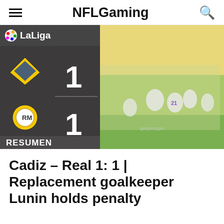NFLGaming
[Figure (screenshot): LaLiga match scoreboard graphic showing Cadiz 1 - Real Madrid 1, with a photo of Real Madrid players celebrating on a football pitch (Getty Images). Dark grey background with team crests and large score numbers. 'RESUMEN' text at the bottom.]
Cadiz – Real 1: 1 | Replacement goalkeeper Lunin holds penalty